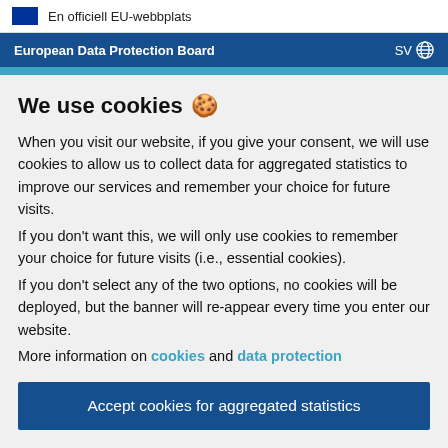En officiell EU-webbplats
European Data Protection Board  SV
We use cookies 🍪
When you visit our website, if you give your consent, we will use cookies to allow us to collect data for aggregated statistics to improve our services and remember your choice for future visits.
If you don't want this, we will only use cookies to remember your choice for future visits (i.e., essential cookies).
If you don't select any of the two options, no cookies will be deployed, but the banner will re-appear every time you enter our website.
More information on cookies and data protection
Accept cookies for aggregated statistics